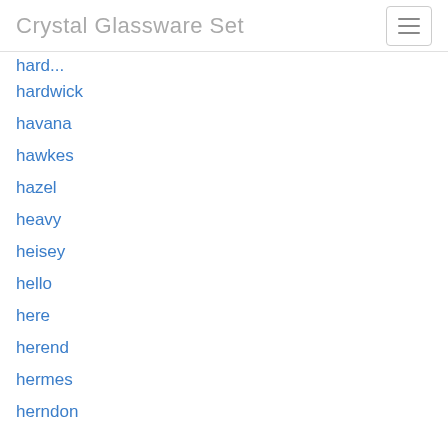Crystal Glassware Set
hard...
hardwick
havana
hawkes
hazel
heavy
heisey
hello
here
herend
hermes
herndon